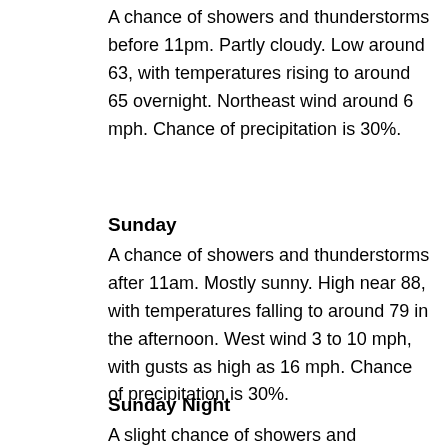A chance of showers and thunderstorms before 11pm. Partly cloudy. Low around 63, with temperatures rising to around 65 overnight. Northeast wind around 6 mph. Chance of precipitation is 30%.
Sunday
A chance of showers and thunderstorms after 11am. Mostly sunny. High near 88, with temperatures falling to around 79 in the afternoon. West wind 3 to 10 mph, with gusts as high as 16 mph. Chance of precipitation is 30%.
Sunday Night
A slight chance of showers and thunderstorms before 11pm. Mostly clear, with a low around 65. Northeast wind around 8 mph. Chance of precipitation is...